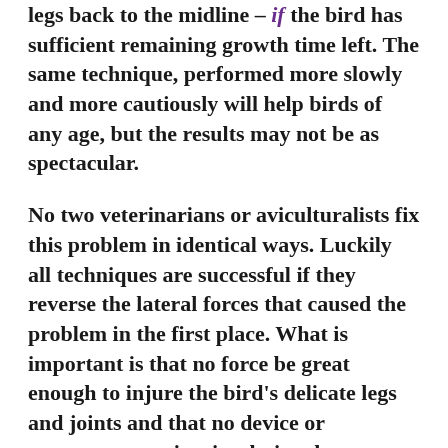legs back to the midline – if the bird has sufficient remaining growth time left. The same technique, performed more slowly and more cautiously will help birds of any age, but the results may not be as spectacular.
No two veterinarians or aviculturalists fix this problem in identical ways. Luckily all techniques are successful if they reverse the lateral forces that caused the problem in the first place. What is important is that no force be great enough to injure the bird's delicate legs and joints and that no device or apparatus restrict circulation, bone or muscle growth. It requires daily or even more frequent inspection and possible adjustments. Bone and cartilage are dynamic tissues that continuously